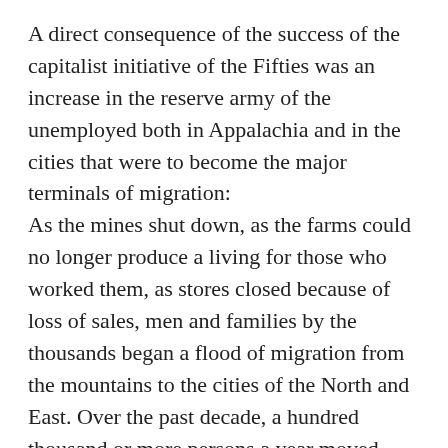A direct consequence of the success of the capitalist initiative of the Fifties was an increase in the reserve army of the unemployed both in Appalachia and in the cities that were to become the major terminals of migration: As the mines shut down, as the farms could no longer produce a living for those who worked them, as stores closed because of loss of sales, men and families by the thousands began a flood of migration from the mountains to the cities of the North and East. Over the past decade, a hundred thousand or more persons a year moved away from the mountains to Chicago, Columbus, Detroit, Cincinnati, and other metropolitan centers where at least the possibility of jobs existed.2
Mining families had to choose between unskilled jobs in the North or inadequate welfare in Appalachia.